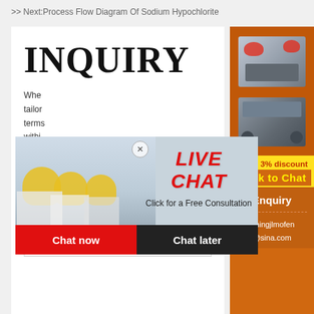>> Next:Process Flow Diagram Of Sodium Hypochlorite
INQUIRY
Whe... tailor... terms... withi...
prud...
| Application* |
| Capacity* |
[Figure (screenshot): Live chat popup with workers in hard hats, LIVE CHAT title in red italic, Click for a Free Consultation subtitle, Chat now (red) and Chat later (dark) buttons]
[Figure (infographic): Right sidebar with orange background showing mining/crushing machines, yellow discount box with Enjoy 3% discount and Click to Chat text, Enquiry section with email limingjlmofen@sina.com]